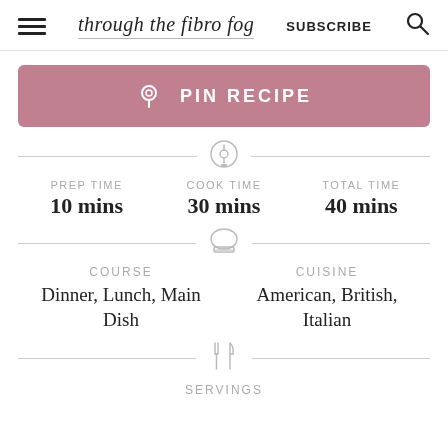through the fibro fog | SUBSCRIBE
PIN RECIPE
PREP TIME 10 mins | COOK TIME 30 mins | TOTAL TIME 40 mins
COURSE: Dinner, Lunch, Main Dish | CUISINE: American, British, Italian
SERVINGS